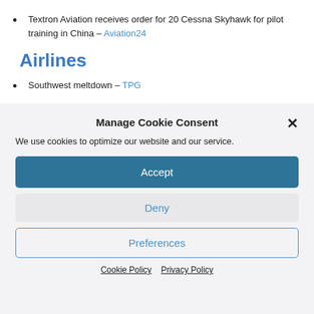Textron Aviation receives order for 20 Cessna Skyhawk for pilot training in China – Aviation24
Airlines
Southwest meltdown – TPG
Manage Cookie Consent
We use cookies to optimize our website and our service.
Accept
Deny
Preferences
Cookie Policy  Privacy Policy